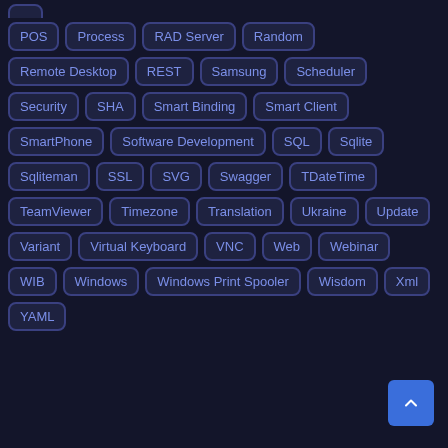POS
Process
RAD Server
Random
Remote Desktop
REST
Samsung
Scheduler
Security
SHA
Smart Binding
Smart Client
SmartPhone
Software Development
SQL
Sqlite
Sqliteman
SSL
SVG
Swagger
TDateTime
TeamViewer
Timezone
Translation
Ukraine
Update
Variant
Virtual Keyboard
VNC
Web
Webinar
WIB
Windows
Windows Print Spooler
Wisdom
Xml
YAML